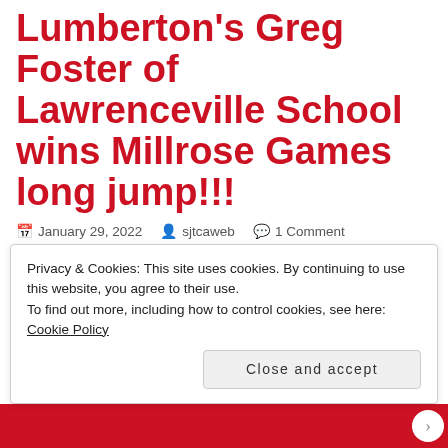Lumberton's Greg Foster of Lawrenceville School wins Millrose Games long jump!!!
January 29, 2022  sjtcaweb  1 Comment
Lumberton's Greg Foster won the high school invitational long jump at the 114th Millrose Games at the Armory
Privacy & Cookies: This site uses cookies. By continuing to use this website, you agree to their use.
To find out more, including how to control cookies, see here: Cookie Policy
Close and accept